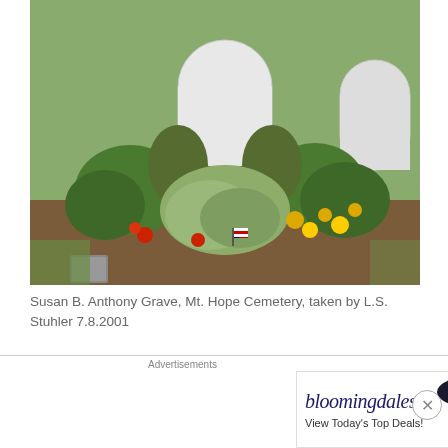[Figure (photo): Photograph of Susan B. Anthony's grave at Mt. Hope Cemetery, showing a white arched headstone surrounded by green bushes, colorful flowers (red, yellow), and garden plantings. Another headstone is partially visible to the right.]
Susan B. Anthony Grave, Mt. Hope Cemetery, taken by L.S. Stuhler 7.8.2001
SOURCES:
(1) Eighty Years And More: Reminiscences 1815-1897 by Elizabeth Cady Stanton (1815-1902) New York: T.